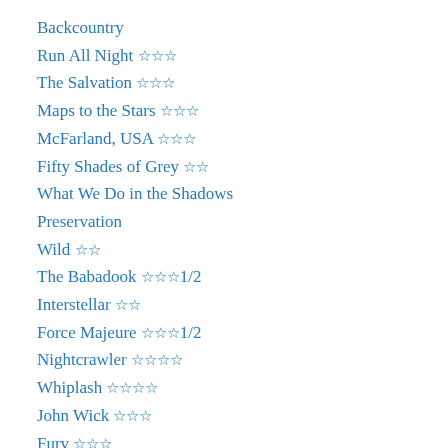Backcountry
Run All Night ☆☆☆
The Salvation ☆☆☆
Maps to the Stars ☆☆☆
McFarland, USA ☆☆☆
Fifty Shades of Grey ☆☆
What We Do in the Shadows
Preservation
Wild ☆☆
The Babadook ☆☆☆1/2
Interstellar ☆☆
Force Majeure ☆☆☆1/2
Nightcrawler ☆☆☆☆
Whiplash ☆☆☆☆
John Wick ☆☆☆
Fury ☆☆☆
The Expendables 3 ☆☆
Into the Storm ☆1/2
Get On Up ☆☆☆
Guardians of the Galaxy ☆☆